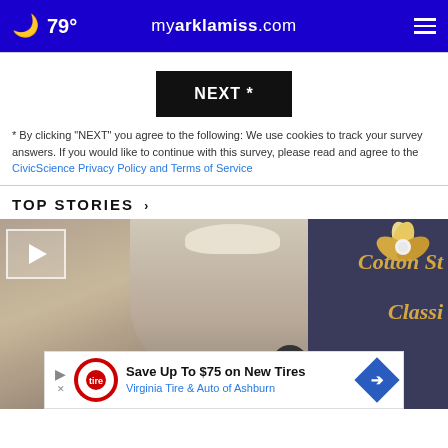79° myarklamiss.com
NEXT *
* By clicking "NEXT" you agree to the following: We use cookies to track your survey answers. If you would like to continue with this survey, please read and agree to the CivicScience Privacy Policy and Terms of Service
TOP STORIES ›
[Figure (photo): Video thumbnail showing a person wearing a cowboy hat in front of a Cotton State Classic sign, with a play button overlay and a close button. An advertisement banner at the bottom reads: Save Up To $75 on New Tires - Virginia Tire & Auto of Ashburn.]